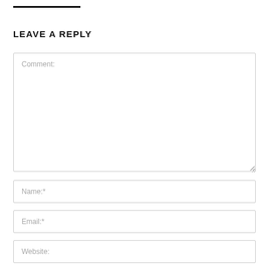LEAVE A REPLY
Comment:
Name:*
Email:*
Website:
Save my name, email, and website in this browser for the next time I